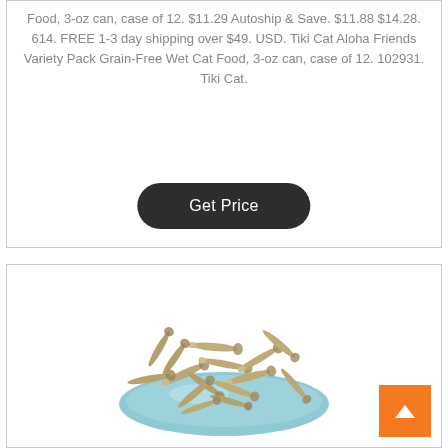Food, 3-oz can, case of 12. $11.29 Autoship & Save. $11.88 $14.28. 614. FREE 1-3 day shipping over $49. USD. Tiki Cat Aloha Friends Variety Pack Grain-Free Wet Cat Food, 3-oz can, case of 12. 102931. Tiki Cat.
[Figure (other): Dark rounded button labeled 'Get Price']
[Figure (photo): Photo of dried small fish (anchovies/whitebait) served in a light blue ceramic bowl, viewed from a slight angle.]